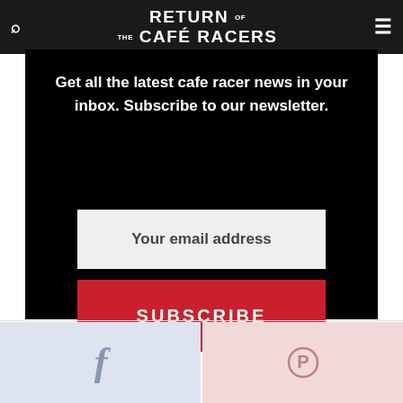RETURN OF THE CAFÉ RACERS
Get all the latest cafe racer news in your inbox. Subscribe to our newsletter.
Your email address
SUBSCRIBE
[Figure (other): Facebook share button (light blue background with f icon) and Pinterest button (light pink background with pin icon)]